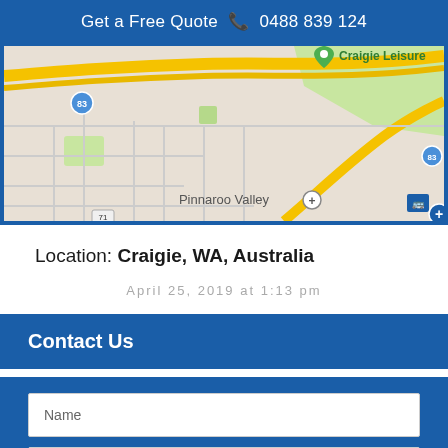Get a Free Quote  0488 839 124
[Figure (map): Google Maps view showing Craigie, WA area with Pinnaroo Valley and Craigie Leisure marked]
Location: Craigie, WA, Australia
April 25, 2019 at 1:13 pm
Contact Us
Name
Email